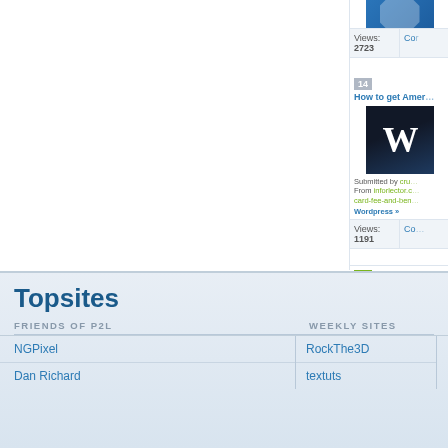Views: 2723
Co…
14
How to get Amer…
Submitted by cru…
From inforlector.c… card-fee-and-ben…
Wordpress »
Views: 1191
Co…
15
How To Track an…
Submitted by cru…
From inforlector.c…
Android OS »
Views: 1200
Co…
Topsites
FRIENDS OF P2L
WEEKLY SITES
NGPixel
RockThe3D
Dan Richard
textuts